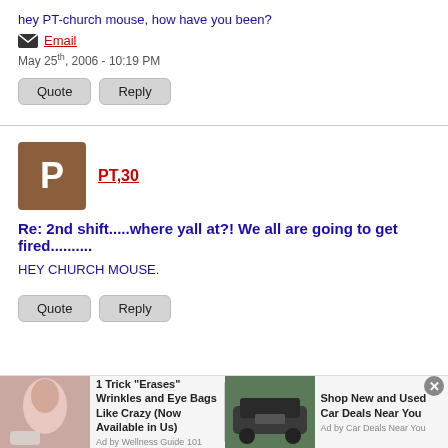hey PT-church mouse, how have you been?
Email
May 25th, 2006 - 10:19 PM
Quote  Reply
[Figure (other): Brown square avatar with letter P]
PT,30
Re: 2nd shift.....where yall at?! We all are going to get fired..........
HEY CHURCH MOUSE.
Quote  Reply
[Figure (other): Two advertisement banners at the bottom: one for wrinkle cream, one for car deals]